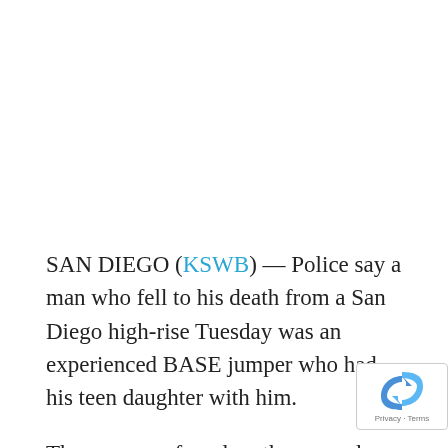SAN DIEGO (KSWB) — Police say a man who fell to his death from a San Diego high-rise Tuesday was an experienced BASE jumper who had his teen daughter with him.
The man was found on the ground around 1 p.m. near Palisade UTC, a luxury apartment